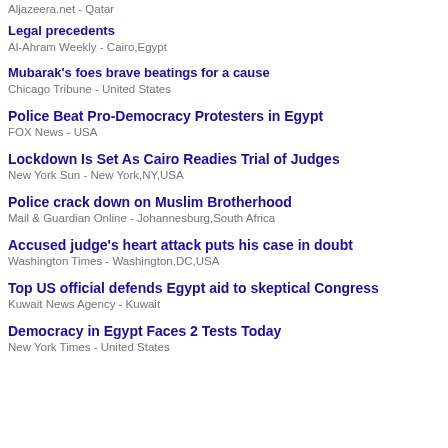Aljazeera.net - Qatar
Legal precedents
Al-Ahram Weekly - Cairo,Egypt
Mubarak's foes brave beatings for a cause
Chicago Tribune - United States
Police Beat Pro-Democracy Protesters in Egypt
FOX News - USA
Lockdown Is Set As Cairo Readies Trial of Judges
New York Sun - New York,NY,USA
Police crack down on Muslim Brotherhood
Mail & Guardian Online - Johannesburg,South Africa
Accused judge's heart attack puts his case in doubt
Washington Times - Washington,DC,USA
Top US official defends Egypt aid to skeptical Congress
Kuwait News Agency - Kuwait
Democracy in Egypt Faces 2 Tests Today
New York Times - United States